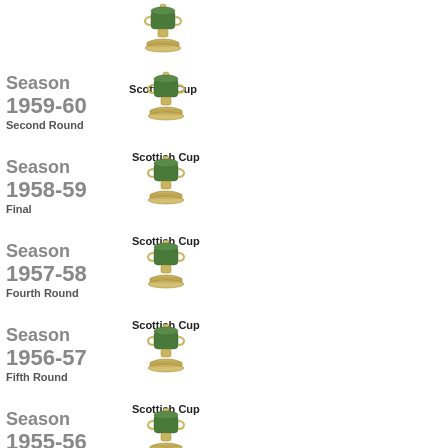[Figure (illustration): Scottish Cup trophy icon at top]
Scottish Cup
Season 1959-60
Second Round
[Figure (illustration): Scottish Cup trophy icon]
Scottish Cup
Season 1958-59
Final
[Figure (illustration): Scottish Cup trophy icon]
Scottish Cup
Season 1957-58
Fourth Round
[Figure (illustration): Scottish Cup trophy icon]
Scottish Cup
Season 1956-57
Fifth Round
[Figure (illustration): Scottish Cup trophy icon]
Scottish Cup
Season 1955-56
Fifth Round
[Figure (illustration): Scottish Cup trophy icon]
Scottish Cup